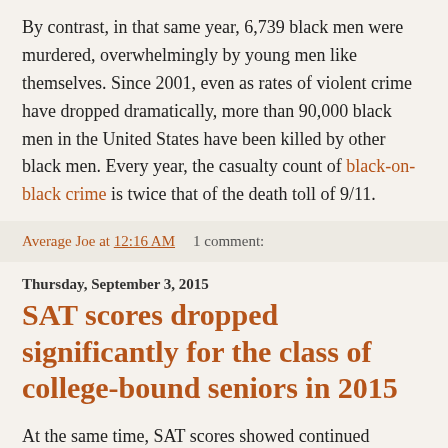By contrast, in that same year, 6,739 black men were murdered, overwhelmingly by young men like themselves. Since 2001, even as rates of violent crime have dropped dramatically, more than 90,000 black men in the United States have been killed by other black men. Every year, the casualty count of black-on-black crime is twice that of the death toll of 9/11.
Average Joe at 12:16 AM    1 comment:
Thursday, September 3, 2015
SAT scores dropped significantly for the class of college-bound seniors in 2015
At the same time, SAT scores showed continued patterns in which white and Asian students, on average, receive higher scores than do black and Latino students. The numbers show that Asian-American and white test takers are comfortably in the 500 range for all three parts of the test, while other groups are in the 400s and for the most part in the mid-400s for all three parts. Everybody's scores are